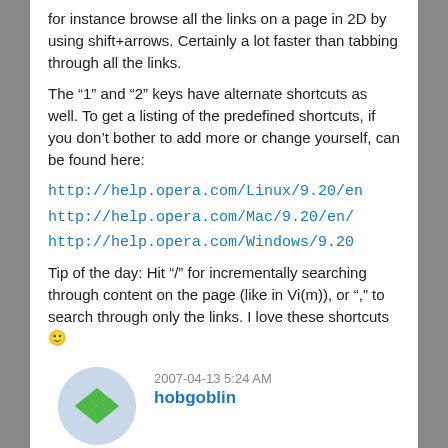for instance browse all the links on a page in 2D by using shift+arrows. Certainly a lot faster than tabbing through all the links.
The “1” and “2” keys have alternate shortcuts as well. To get a listing of the predefined shortcuts, if you don’t bother to add more or change yourself, can be found here:
http://help.opera.com/Linux/9.20/en
http://help.opera.com/Mac/9.20/en/
http://help.opera.com/Windows/9.20
Tip of the day: Hit “/” for incrementally searching through content on the page (like in Vi(m)), or “,” to search through only the links. I love these shortcuts 😊
2007-04-13 5:24 AM
hobgoblin